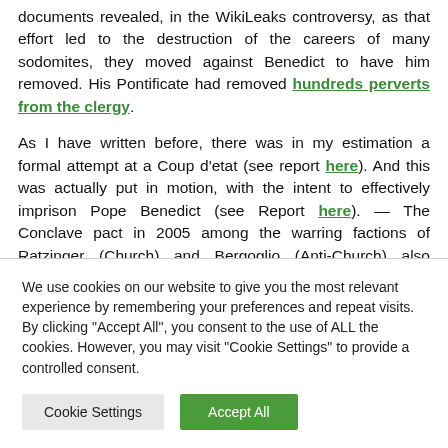documents revealed, in the WikiLeaks controversy, as that effort led to the destruction of the careers of many sodomites, they moved against Benedict to have him removed. His Pontificate had removed hundreds perverts from the clergy.
As I have written before, there was in my estimation a formal attempt at a Coup d'etat (see report here). And this was actually put in motion, with the intent to effectively imprison Pope Benedict (see Report here). — The Conclave pact in 2005 among the warring factions of Ratzinger (Church) and Bergoglio (Anti-Church) also prepared the way (see report
We use cookies on our website to give you the most relevant experience by remembering your preferences and repeat visits. By clicking "Accept All", you consent to the use of ALL the cookies. However, you may visit "Cookie Settings" to provide a controlled consent.